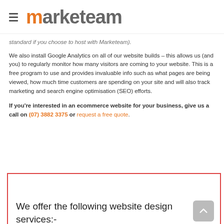marketeam
standard if you choose to host with Marketeam).
We also install Google Analytics on all of our website builds – this allows us (and you) to regularly monitor how many visitors are coming to your website. This is a free program to use and provides invaluable info such as what pages are being viewed, how much time customers are spending on your site and will also track marketing and search engine optimisation (SEO) efforts.
If you're interested in an ecommerce website for your business, give us a call on (07) 3882 3375 or request a free quote.
We offer the following website design services:-